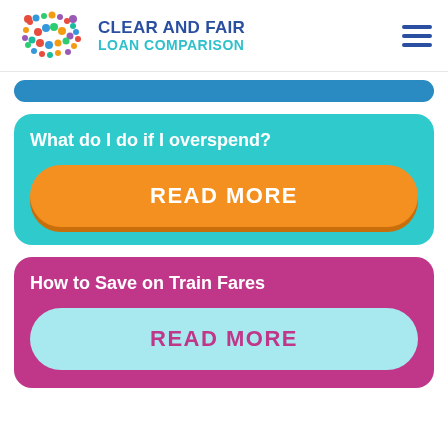CLEAR AND FAIR LOAN COMPARISON
[Figure (logo): Colorful bear silhouette made of polka dots, logo for Clear and Fair Loan Comparison]
What do I do if I overspend?
READ MORE
How to Save on Train Fares
READ MORE